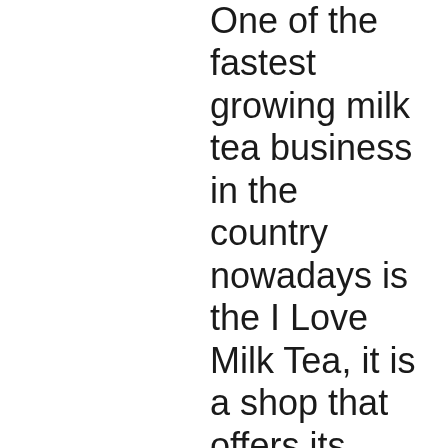One of the fastest growing milk tea business in the country nowadays is the I Love Milk Tea, it is a shop that offers its customers delicious, high – quality and freshly made tea drinks at a very competitive price with over 27 branches nationwide that is solely owned by the entrepreneur Mrs. Letty Sarenas. The franchise's main product is the milk tea that comes from different flavors, ingredients and toppings listed on their menu where the customers may choose in accordance to their preference. Last 2015, the main branch which is located at Sucat, Paranaque allowed the different branches to sell foods or snacks such as pasta, stuffed bread, fries, nachos, etc.). The shop does not only offers quality products but also a quality service by having this sort of democracy due to what they call